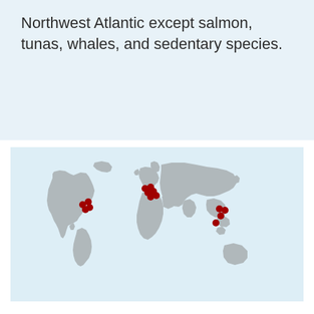Northwest Atlantic except salmon, tunas, whales, and sedentary species.
[Figure (map): World map with red dots marking locations in eastern North America, western/central Europe and Mediterranean, and Southeast Asia/western Pacific regions.]